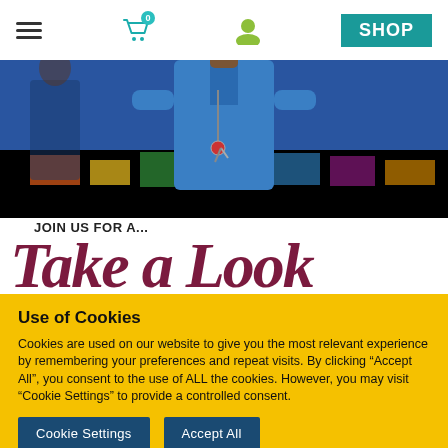Navigation bar with hamburger menu, cart (0), user icon, SHOP button
[Figure (photo): Hero image showing a person wearing blue scrubs with a lanyard/keys, standing in what appears to a colorful classroom or school setting]
JOIN US FOR A...
Take a Look
Use of Cookies
Cookies are used on our website to give you the most relevant experience by remembering your preferences and repeat visits. By clicking “Accept All”, you consent to the use of ALL the cookies. However, you may visit “Cookie Settings” to provide a controlled consent.
Cookie Settings   Accept All